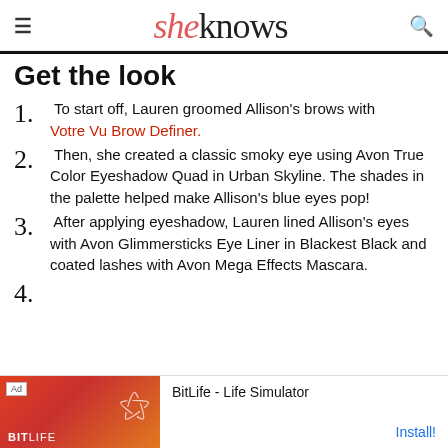sheknows
Get the look
1. To start off, Lauren groomed Allison's brows with Votre Vu Brow Definer.
2. Then, she created a classic smoky eye using Avon True Color Eyeshadow Quad in Urban Skyline. The shades in the palette helped make Allison's blue eyes pop!
3. After applying eyeshadow, Lauren lined Allison's eyes with Avon Glimmersticks Eye Liner in Blackest Black and coated lashes with Avon Mega Effects Mascara.
4. [cut off]
[Figure (screenshot): BitLife - Life Simulator advertisement banner at bottom of page]